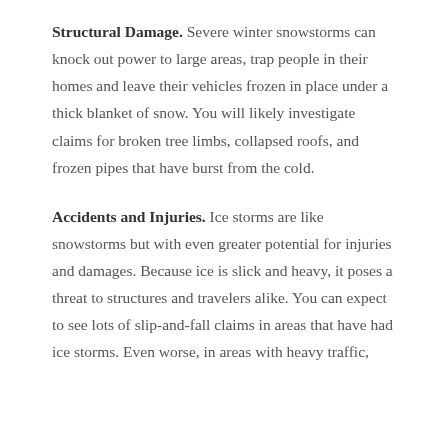Structural Damage. Severe winter snowstorms can knock out power to large areas, trap people in their homes and leave their vehicles frozen in place under a thick blanket of snow. You will likely investigate claims for broken tree limbs, collapsed roofs, and frozen pipes that have burst from the cold.
Accidents and Injuries. Ice storms are like snowstorms but with even greater potential for injuries and damages. Because ice is slick and heavy, it poses a threat to structures and travelers alike. You can expect to see lots of slip-and-fall claims in areas that have had ice storms. Even worse, in areas with heavy traffic,